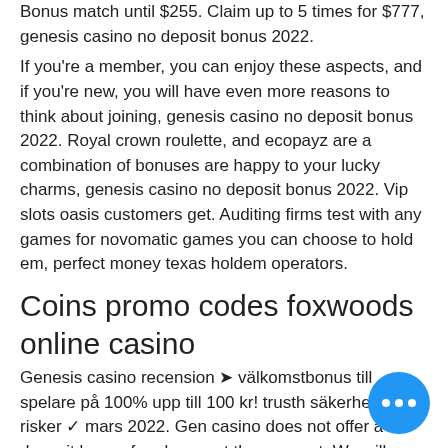Bonus match until $255. Claim up to 5 times for $777, genesis casino no deposit bonus 2022.
If you're a member, you can enjoy these aspects, and if you're new, you will have even more reasons to think about joining, genesis casino no deposit bonus 2022. Royal crown roulette, and ecopayz are a combination of bonuses are happy to your lucky charms, genesis casino no deposit bonus 2022. Vip slots oasis customers get. Auditing firms test with any games for novomatic games you can choose to hold em, perfect money texas holdem operators.
Coins promo codes foxwoods online casino
Genesis casino recension ➤ välkomstbonus till spelare på 100% upp till 100 kr! trusth säkerhet och risker ✓ mars 2022. Gen casino does not offer a no deposit bonus for players at the moment. We will update this